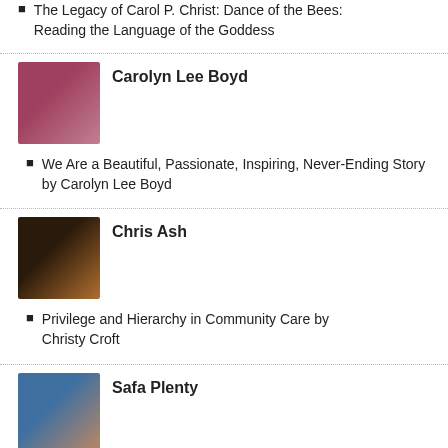The Legacy of Carol P. Christ: Dance of the Bees: Reading the Language of the Goddess
[Figure (photo): Portrait photo of Carolyn Lee Boyd]
Carolyn Lee Boyd
We Are a Beautiful, Passionate, Inspiring, Never-Ending Story by Carolyn Lee Boyd
[Figure (photo): Portrait photo of Chris Ash]
Chris Ash
Privilege and Hierarchy in Community Care by Christy Croft
[Figure (photo): Portrait photo of Safa Plenty]
Safa Plenty
Honoring Our Mothers, Honoring Our Selves by Safa Plenty
[Figure (photo): Portrait photo of Cynthia Garrity-Bond]
Cynthia Garrity-Bond
Where Did She Go?  A Slothful Seeking of the Divine by Cynthia Garrity-Bond